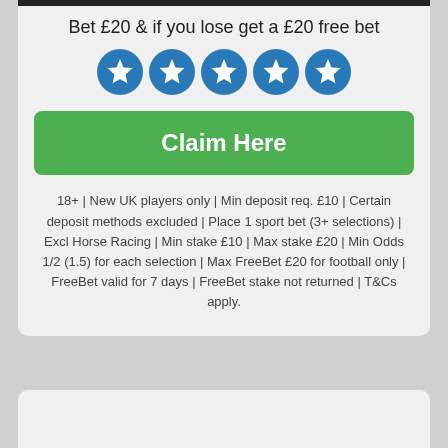Bet £20 & if you lose get a £20 free bet
[Figure (illustration): Five blue star rating circles in a row]
Claim Here
18+ | New UK players only | Min deposit req. £10 | Certain deposit methods excluded | Place 1 sport bet (3+ selections) | Excl Horse Racing | Min stake £10 | Max stake £20 | Min Odds 1/2 (1.5) for each selection | Max FreeBet £20 for football only | FreeBet valid for 7 days | FreeBet stake not returned | T&Cs apply.